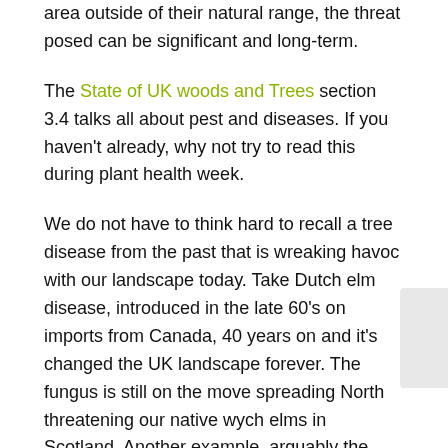area outside of their natural range, the threat posed can be significant and long-term.
The State of UK woods and Trees section 3.4 talks all about pest and diseases. If you haven't already, why not try to read this during plant health week.
We do not have to think hard to recall a tree disease from the past that is wreaking havoc with our landscape today. Take Dutch elm disease, introduced in the late 60's on imports from Canada, 40 years on and it's changed the UK landscape forever. The fungus is still on the move spreading North threatening our native wych elms in Scotland. Another example, arguably the most well-known tree disease is ash dieback. This year marks the 10th anniversary since the fungus was first identified in the UK at a time when ash was traded heavily across